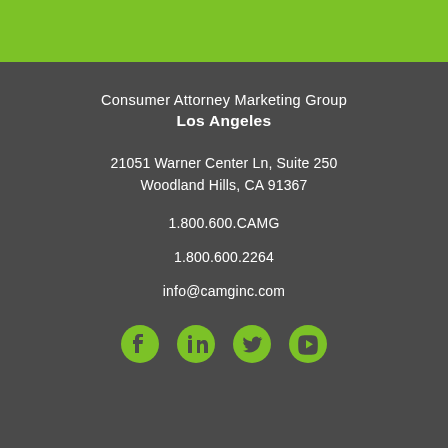[Figure (illustration): Green horizontal bar at top of page]
Consumer Attorney Marketing Group
Los Angeles
21051 Warner Center Ln, Suite 250
Woodland Hills, CA 91367
1.800.600.CAMG
1.800.600.2264
info@camginc.com
[Figure (illustration): Social media icons: Facebook, LinkedIn, Twitter, YouTube in green color]